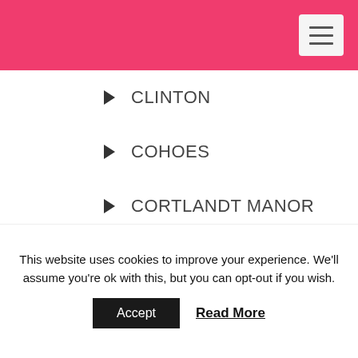CLINTON
COHOES
CORTLANDT MANOR
CROSS RIVER
CROTON ON HUDSON
DOBBS FERRY
EAST MORICHES
EAST NORTHPORT
EASTCHESTER
FAYETTEVILLE
FIRE ISLAND
This website uses cookies to improve your experience. We'll assume you're ok with this, but you can opt-out if you wish.